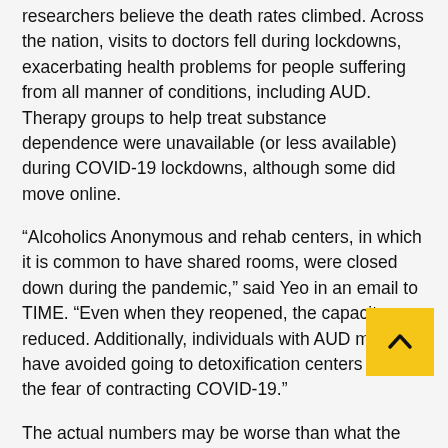researchers believe the death rates climbed. Across the nation, visits to doctors fell during lockdowns, exacerbating health problems for people suffering from all manner of conditions, including AUD. Therapy groups to help treat substance dependence were unavailable (or less available) during COVID-19 lockdowns, although some did move online.
“Alcoholics Anonymous and rehab centers, in which it is common to have shared rooms, were closed down during the pandemic,” said Yeo in an email to TIME. “Even when they reopened, the capacity was reduced. Additionally, individuals with AUD may have avoided going to detoxification centers due to the fear of contracting COVID-19.”
The actual numbers may be worse than what the study shows, since AUD is often overlooked as a contributing factor when there is a more-immediate cause of death like heart attack or stroke. “We know that alcohol use disorder is often under-reported,” Yeo said in a statement